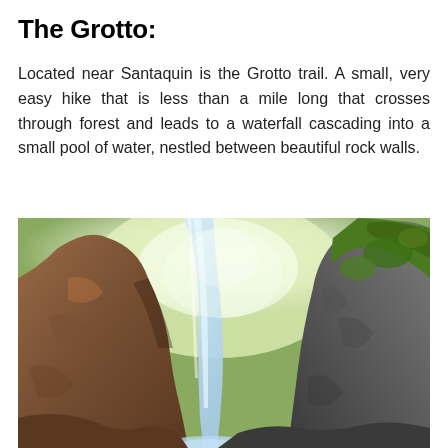The Grotto:
Located near Santaquin is the Grotto trail. A small, very easy hike that is less than a mile long that crosses through forest and leads to a waterfall cascading into a small pool of water, nestled between beautiful rock walls.
[Figure (photo): A waterfall cascading down between large rock walls with moss-covered stones and green foliage visible in the background. The water flows into a pool at the base, set within a narrow rocky grotto.]